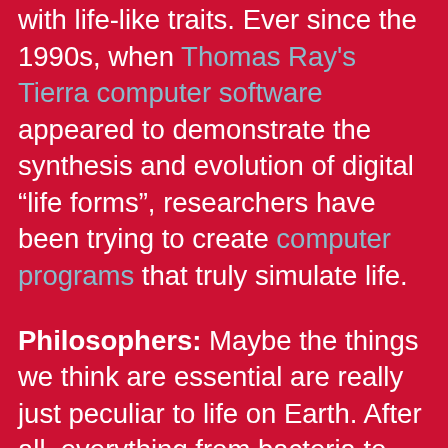with life-like traits. Ever since the 1990s, when Thomas Ray's Tierra computer software appeared to demonstrate the synthesis and evolution of digital “life forms”, researchers have been trying to create computer programs that truly simulate life.
Philosophers: Maybe the things we think are essential are really just peculiar to life on Earth. After all, everything from bacteria to lions is derived from a single common ancestor, meaning that on our chart of life in the Universe, we only really have one data point.
In the words of Sagan: “Man tends to define in